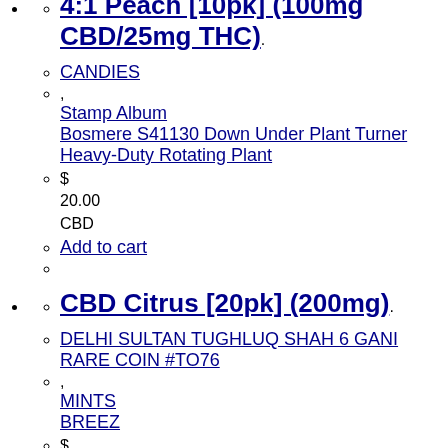4:1 Peach [10pk] (100mg CBD/25mg THC)
CANDIES
, Stamp Album Bosmere S41130 Down Under Plant Turner Heavy-Duty Rotating Plant
$ 20.00 CBD
Add to cart
CBD Citrus [20pk] (200mg)
DELHI SULTAN TUGHLUQ SHAH 6 GANI RARE COIN #TO76
, MINTS BREEZ
$ 25.00 CBD